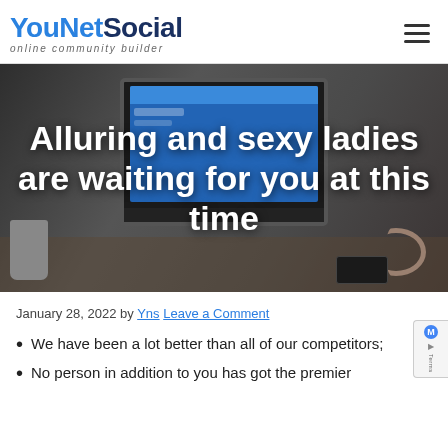[Figure (logo): YouNetSocial logo — 'YouNet' in blue, 'Social' in dark blue, subtitle 'online community builder' in gray italic]
Alluring and sexy ladies are waiting for you at this time
January 28, 2022 by Yns Leave a Comment
We have been a lot better than all of our competitors;
No person in addition to you has got the premier